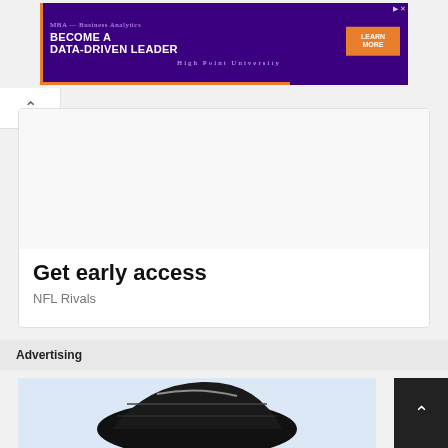[Figure (other): Advertisement banner for High Point University MBA Business Analytics program with purple background and orange button saying LEARN MORE]
[Figure (other): Scroll up chevron button (^) in white rounded box]
[Figure (other): NFL Rivals app card with white background showing Get early access text]
Get early access
NFL Rivals
Advertising
[Figure (other): Bottom advertisement card with light blue background showing a helmet/car image, with dark scroll up button on right]